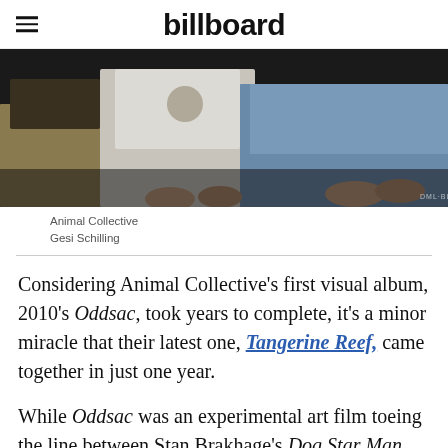billboard
[Figure (photo): Animal Collective band members seated, cropped view showing torsos and hands. Center figure wears a white t-shirt. Right figure wears a denim jacket. Partial text visible bottom right: DML·BLA]
Animal Collective
Gesi Schilling
Considering Animal Collective's first visual album, 2010's Oddsac, took years to complete, it's a minor miracle that their latest one, Tangerine Reef, came together in just one year.
While Oddsac was an experimental art film toeing the line between Stan Brakhage's Dog Star Man and the trippy fantasy sequences in Led Zeppelin's The Song